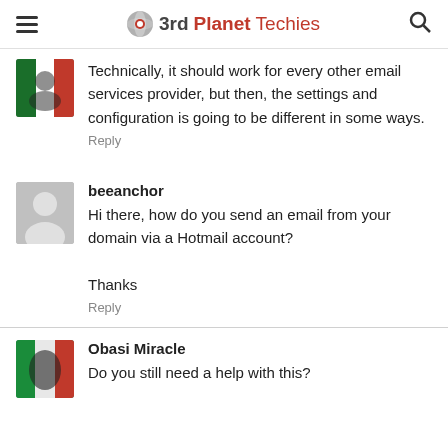3rdPlanetTechies
Technically, it should work for every other email services provider, but then, the settings and configuration is going to be different in some ways.
Reply
beeanchor
Hi there, how do you send an email from your domain via a Hotmail account?

Thanks
Reply
Obasi Miracle
Do you still need a help with this?